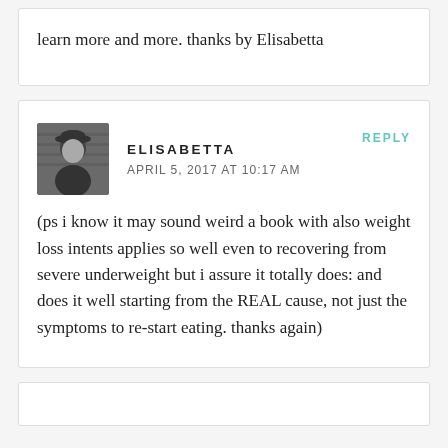learn more and more. thanks by Elisabetta
ELISABETTA
APRIL 5, 2017 AT 10:17 AM
REPLY
(ps i know it may sound weird a book with also weight loss intents applies so well even to recovering from severe underweight but i assure it totally does: and does it well starting from the REAL cause, not just the symptoms to re-start eating. thanks again)
[Figure (photo): Black and white photo of a woman wearing a hat, appears to be a profile/avatar image]